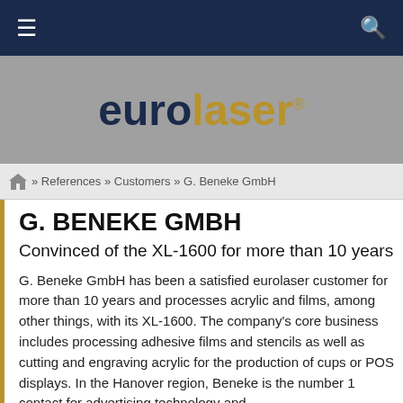eurolaser® — navigation and search bar
[Figure (logo): eurolaser logo with 'euro' in dark navy and 'laser' in gold/yellow on grey background]
» References » Customers » G. Beneke GmbH
G. BENEKE GMBH
Convinced of the XL-1600 for more than 10 years
G. Beneke GmbH has been a satisfied eurolaser customer for more than 10 years and processes acrylic and films, among other things, with its XL-1600. The company's core business includes processing adhesive films and stencils as well as cutting and engraving acrylic for the production of cups or POS displays. In the Hanover region, Beneke is the number 1 contact for advertising technology and